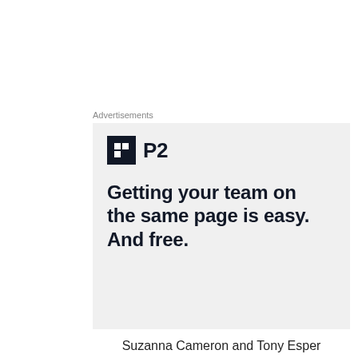Advertisements
[Figure (other): P2 advertisement banner with logo and tagline: Getting your team on the same page is easy. And free.]
Suzanna Cameron and Tony Esper
Privacy & Cookies: This site uses cookies. By continuing to use this website, you agree to their use.
To find out more, including how to control cookies, see here: Cookie Policy
Close and accept